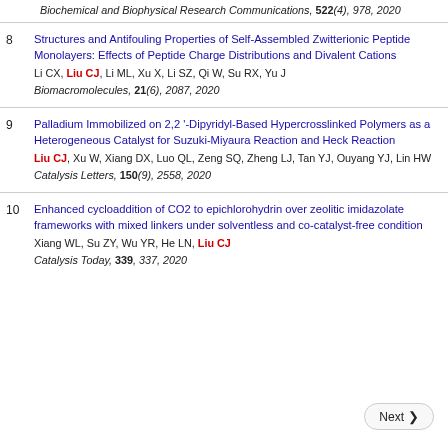Biochemical and Biophysical Research Communications, 522(4), 978, 2020
8. Structures and Antifouling Properties of Self-Assembled Zwitterionic Peptide Monolayers: Effects of Peptide Charge Distributions and Divalent Cations. Li CX, Liu CJ, Li ML, Xu X, Li SZ, Qi W, Su RX, Yu J. Biomacromolecules, 21(6), 2087, 2020
9. Palladium Immobilized on 2,2'-Dipyridyl-Based Hypercrosslinked Polymers as a Heterogeneous Catalyst for Suzuki-Miyaura Reaction and Heck Reaction. Liu CJ, Xu W, Xiang DX, Luo QL, Zeng SQ, Zheng LJ, Tan YJ, Ouyang YJ, Lin HW. Catalysis Letters, 150(9), 2558, 2020
10. Enhanced cycloaddition of CO2 to epichlorohydrin over zeolitic imidazolate frameworks with mixed linkers under solventless and co-catalyst-free condition. Xiang WL, Su ZY, Wu YR, He LN, Liu CJ. Catalysis Today, 339, 337, 2020